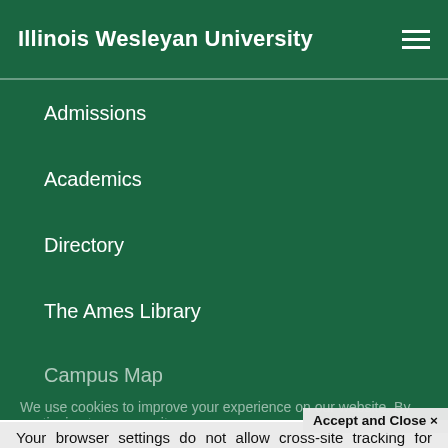Illinois Wesleyan University
Admissions
Academics
Directory
The Ames Library
Campus Map
We use cookies to improve your experience on our website. By continuing to use our site,
Accept and Close ×
Your browser settings do not allow cross-site tracking for advertising. Click on this page to allow AdRoll to use cross-site tracking to tailor ads to you. Learn more or opt out of this AdRoll tracking by clicking here. This message only appears once.
United States